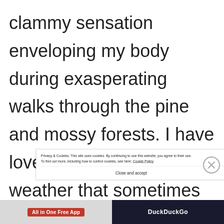clammy sensation enveloping my body during exasperating walks through the pine and mossy forests. I have loved the sub-zero cold weather that sometimes robs me off some precious time to sleep d
Privacy & Cookies: This site uses cookies. By continuing to use this website, you agree to their use.
To find out more, including how to control cookies, see here: Cookie Policy
Close and accept
[Figure (other): Advertisement bar at the bottom: left half shows 'All in One Free App' badge in red on grey background, right half shows 'DuckDuckGo' logo in white on dark background.]